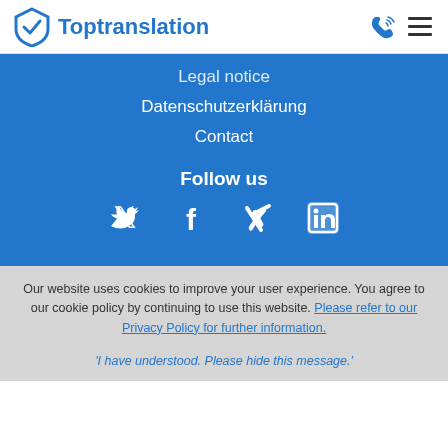Toptranslation
Legal notice
Datenschutzerklärung
Contact
Follow us
[Figure (illustration): Social media icons: Twitter, Facebook, Xing, LinkedIn]
Our website uses cookies to improve your user experience. You agree to our cookie policy by continuing to use this website. Please refer to our Privacy Policy for further information.
'I have understood. Please hide this message.'